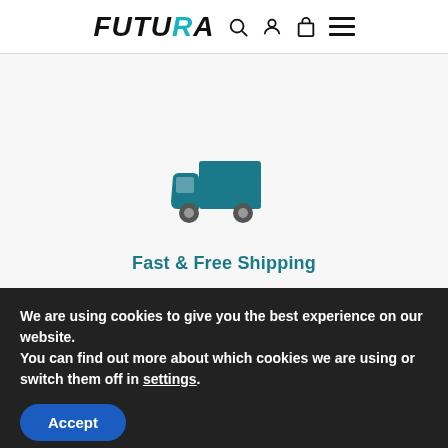FUTURA
[Figure (illustration): Teal delivery truck icon]
Fast & Free Shipping
We are using cookies to give you the best experience on our website.
You can find out more about which cookies we are using or switch them off in settings.
Accept